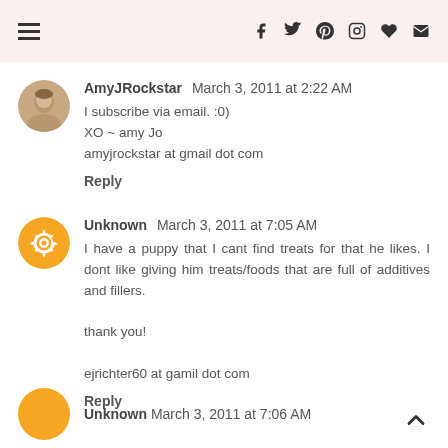Navigation menu and social icons (f, twitter, pinterest, instagram, heart, mail)
AmyJRockstar  March 3, 2011 at 2:22 AM
I subscribe via email. :0)
XO ~ amy Jo
amyjrockstar at gmail dot com
Reply
Unknown  March 3, 2011 at 7:05 AM
I have a puppy that I cant find treats for that he likes. I dont like giving him treats/foods that are full of additives and fillers.

thank you!

ejrichter60 at gamil dot com
Reply
Unknown  March 3, 2011 at 7:06 AM